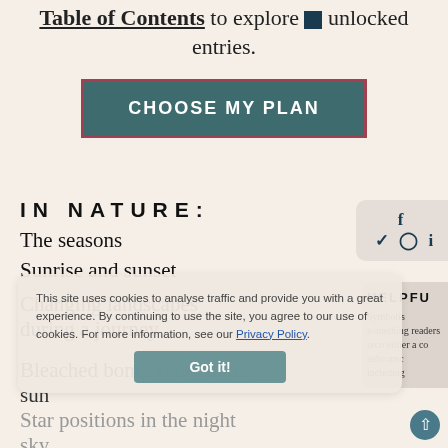Table of Contents to explore unlocked entries.
CHOOSE MY PLAN
IN NATURE:
The seasons
Sunrise and sunset
Changing landscapes during a journey
Bleached bones lying in the sun
Star positions in the night sky
This site uses cookies to analyse traffic and provide you with a great experience. By continuing to use the site, you agree to our use of cookies. For more information, see our Privacy Policy.
Got it!
f  ✓  ○  i
HELPFU
Symbolism something that readers reco either a cons subconscou including it